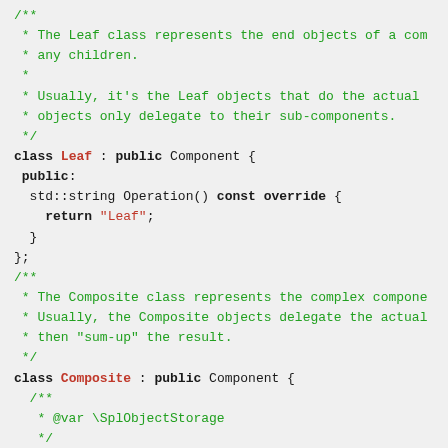/** * The Leaf class represents the end objects of a composition. * any children. * * Usually, it's the Leaf objects that do the actual work, whereas * objects only delegate to their sub-components. */
class Leaf : public Component {
 public:
  std::string Operation() const override {
    return "Leaf";
  }
};
/**
 * The Composite class represents the complex components that may * Usually, the Composite objects delegate the actual work to their * then "sum-up" the result.
 */
class Composite : public Component {
  /**
   * @var \SplObjectStorage
   */
 protected: